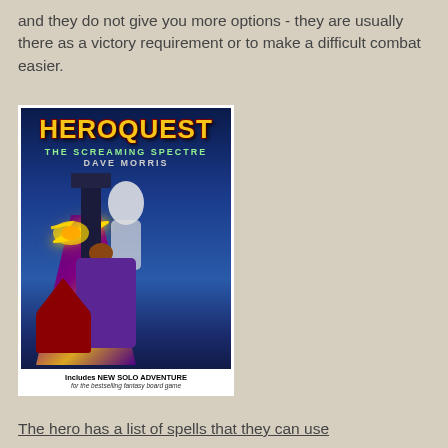and they do not give you more options - they are usually there as a victory requirement or to make a difficult combat easier.
[Figure (photo): Book cover of HeroQuest: The Screaming Spectre by Dave Morris. Shows fantasy art with a wizard and spectre. Footer text: 'Includes NEW SOLO ADVENTURE for the bestselling fantasy board game']
The hero has a list of spells that they can use